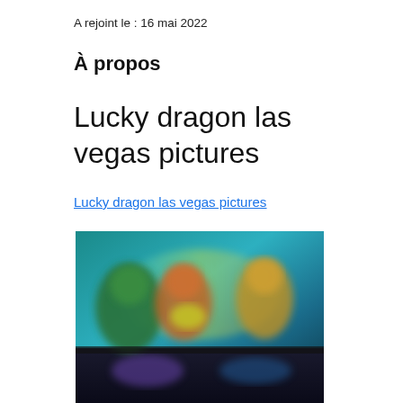A rejoint le : 16 mai 2022
À propos
Lucky dragon las vegas pictures
Lucky dragon las vegas pictures
[Figure (photo): Blurred screenshot showing animated casino or gaming interface with colorful characters on a dark background]